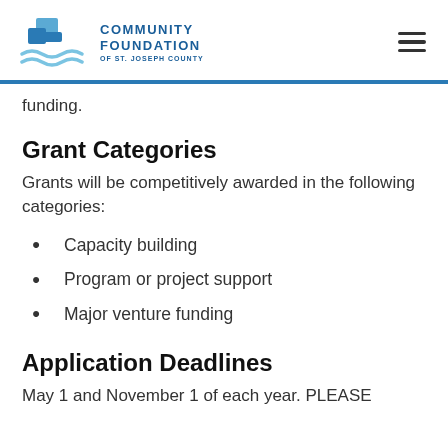[Figure (logo): Community Foundation of St. Joseph County logo with blue geometric icon and text]
funding.
Grant Categories
Grants will be competitively awarded in the following categories:
Capacity building
Program or project support
Major venture funding
Application Deadlines
May 1 and November 1 of each year. PLEASE